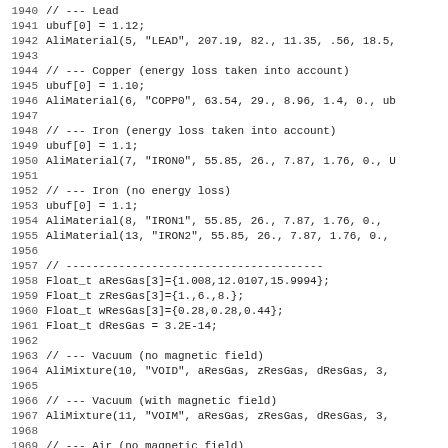Code listing lines 1940-1971, C++ source code for material definitions including Lead, Copper, Iron, and vacuum/air mixtures using AliMaterial and AliMixture functions.